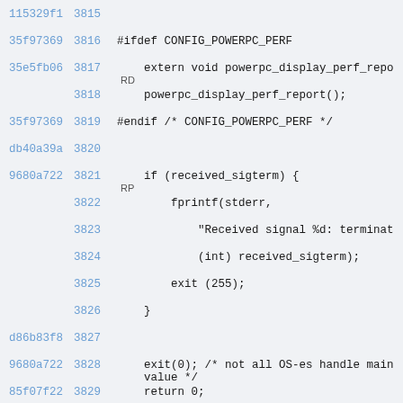Source code view with git blame annotations, lines 3815-3829
115329f1  3815
35f97369  3816  #ifdef CONFIG_POWERPC_PERF
35e5fb06  3817      extern void powerpc_display_perf_repo RD
3818      powerpc_display_perf_report();
35f97369  3819  #endif /* CONFIG_POWERPC_PERF */
db40a39a  3820
9680a722  3821      if (received_sigterm) { RP
3822          fprintf(stderr,
3823              "Received signal %d: terminat
3824              (int) received_sigterm);
3825          exit (255);
3826      }
d86b83f8  3827
9680a722  3828      exit(0); /* not all OS-es handle main value */
85f07f22  3829      return 0;